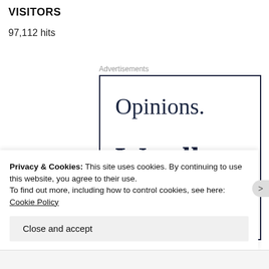VISITORS
97,112 hits
Advertisements
[Figure (other): Advertisement box with serif text reading 'Opinions.' and 'We all' in dark navy color, outlined with a dark border.]
Privacy & Cookies: This site uses cookies. By continuing to use this website, you agree to their use.
To find out more, including how to control cookies, see here: Cookie Policy
Close and accept